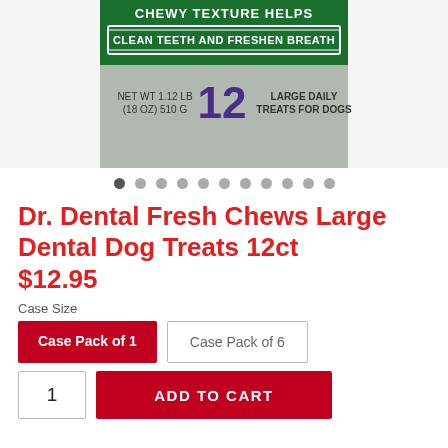[Figure (photo): Product package of Dr. Dental Fresh Chews Large Dental Dog Treats 12ct showing green and grey packaging with text 'CHEWY TEXTURE HELPS CLEAN TEETH AND FRESHEN BREATH', NET WT 1.12 LB (18 OZ) 510 G, 12 LARGE DAILY TREATS FOR DOGS]
Dr. Dental Fresh Chews Large Dental Dog Treats 12ct
$12.95
Case Size
Case Pack of 1
Case Pack of 6
1
ADD TO CART